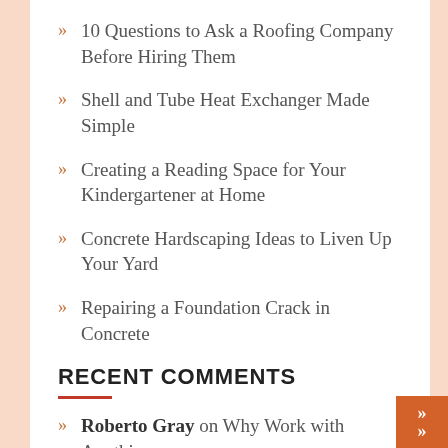10 Questions to Ask a Roofing Company Before Hiring Them
Shell and Tube Heat Exchanger Made Simple
Creating a Reading Space for Your Kindergartener at Home
Concrete Hardscaping Ideas to Liven Up Your Yard
Repairing a Foundation Crack in Concrete
RECENT COMMENTS
Roberto Gray on Why Work with Anything